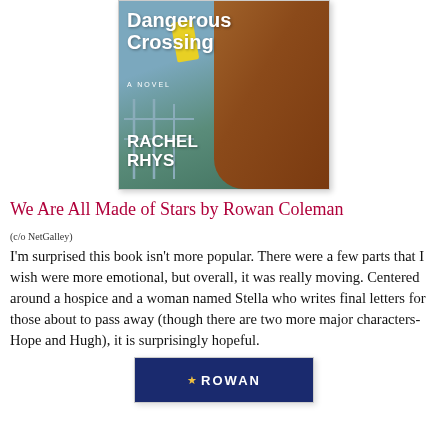[Figure (illustration): Book cover of 'Dangerous Crossing: A Novel' by Rachel Rhys. Shows text on a blue-green ocean background with brown fur/animal on the right side and a yellow garment. White title text and author name.]
We Are All Made of Stars by Rowan Coleman
(c/o NetGalley)
I'm surprised this book isn't more popular. There were a few parts that I wish were more emotional, but overall, it was really moving. Centered around a hospice and a woman named Stella who writes final letters for those about to pass away (though there are two more major characters-Hope and Hugh), it is surprisingly hopeful.
[Figure (illustration): Bottom portion of a book cover with dark blue background, a star decoration, and the beginning of the author name 'ROWAN' in white bold letters.]